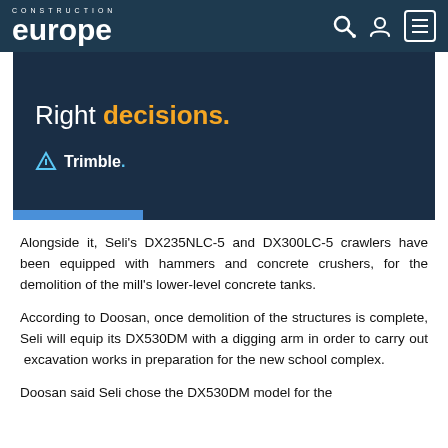Construction Europe
[Figure (other): Trimble advertisement banner with text 'Right decisions.' in white and orange on dark navy background, with Trimble logo and a blue bar at the bottom]
Alongside it, Seli's DX235NLC-5 and DX300LC-5 crawlers have been equipped with hammers and concrete crushers, for the demolition of the mill's lower-level concrete tanks.
According to Doosan, once demolition of the structures is complete, Seli will equip its DX530DM with a digging arm in order to carry out  excavation works in preparation for the new school complex.
Doosan said Seli chose the DX530DM model for the